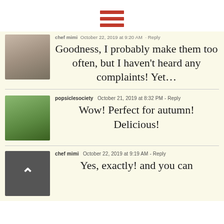[Figure (other): Hamburger menu icon with three red horizontal bars]
chef mimi  October 22, 2019 at 9:20 AM · Reply
Goodness, I probably make them too often, but I haven't heard any complaints! Yet…
popsiclesociety  October 21, 2019 at 8:32 PM - Reply
Wow! Perfect for autumn! Delicious!
chef mimi  October 22, 2019 at 9:19 AM - Reply
Yes, exactly! and you can